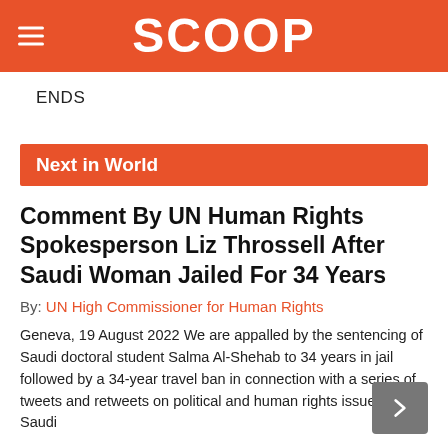SCOOP
ENDS
Next in World
Comment By UN Human Rights Spokesperson Liz Throssell After Saudi Woman Jailed For 34 Years
By: UN High Commissioner for Human Rights
Geneva, 19 August 2022 We are appalled by the sentencing of Saudi doctoral student Salma Al-Shehab to 34 years in jail followed by a 34-year travel ban in connection with a series of tweets and retweets on political and human rights issues in Saudi